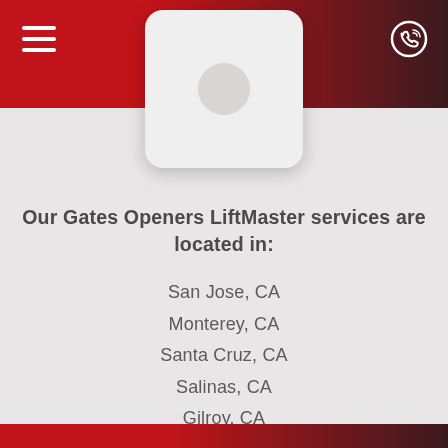[Figure (screenshot): Mobile website header with red-to-dark gradient background, hamburger menu icon on left, phone/call icon on right, and a white rounded card logo in the center]
Our Gates Openers LiftMaster services are located in:
San Jose, CA
Monterey, CA
Santa Cruz, CA
Salinas, CA
Gilroy, CA
Pebble Beach, CA
King City, CA
Seaside, CA
Hollister, CA